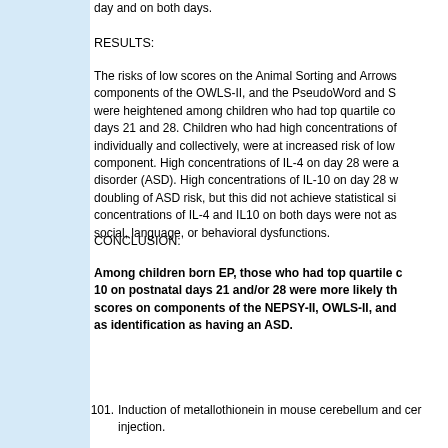day and on both days.
RESULTS:
The risks of low scores on the Animal Sorting and Arrows components of the OWLS-II, and the PseudoWord and S were heightened among children who had top quartile co days 21 and 28. Children who had high concentrations of individually and collectively, were at increased risk of low component. High concentrations of IL-4 on day 28 were a disorder (ASD). High concentrations of IL-10 on day 28 w doubling of ASD risk, but this did not achieve statistical si concentrations of IL-4 and IL10 on both days were not as social, language, or behavioral dysfunctions.
CONCLUSION:
Among children born EP, those who had top quartile c 10 on postnatal days 21 and/or 28 were more likely th scores on components of the NEPSY-II, OWLS-II, and as identification as having an ASD.
101. Induction of metallothionein in mouse cerebellum and cer injection.